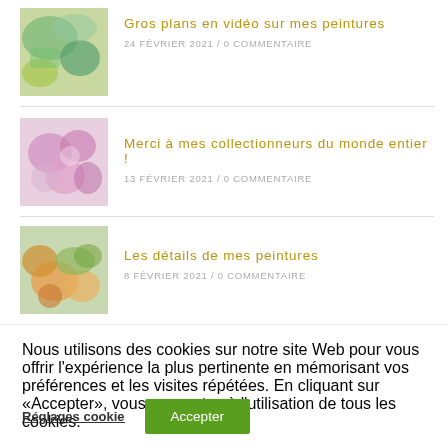[Figure (photo): Abstract painting with green and teal washes]
Gros plans en vidéo sur mes peintures
24 FÉVRIER 2021 / 0 COMMENTAIRE
[Figure (photo): Abstract painting with pink and purple floral elements]
Merci à mes collectionneurs du monde entier !
13 FÉVRIER 2021 / 0 COMMENTAIRE
[Figure (photo): Abstract painting with orange and green botanical shapes]
Les détails de mes peintures
8 FÉVRIER 2021 / 0 COMMENTAIRE
Nous utilisons des cookies sur notre site Web pour vous offrir l'expérience la plus pertinente en mémorisant vos préférences et les visites répétées. En cliquant sur «Accepter», vous consentez à l'utilisation de tous les cookies.
Réglages cookie
Accepter